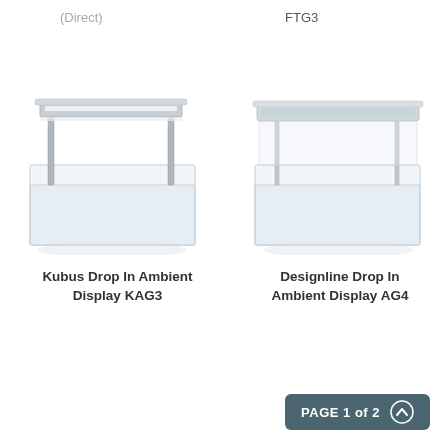(Direct)
FTG3
[Figure (illustration): Kubus Drop In Ambient Display unit KAG3 - a stainless steel overhead guard bar mounted above a transparent rectangular display unit, shown in 3D perspective view]
[Figure (illustration): Designline Drop In Ambient Display unit AG4 - a sleek overhead canopy guard mounted above a transparent rectangular display unit, shown in 3D perspective view]
Kubus Drop In Ambient Display KAG3
Designline Drop In Ambient Display AG4
PAGE 1 of 2